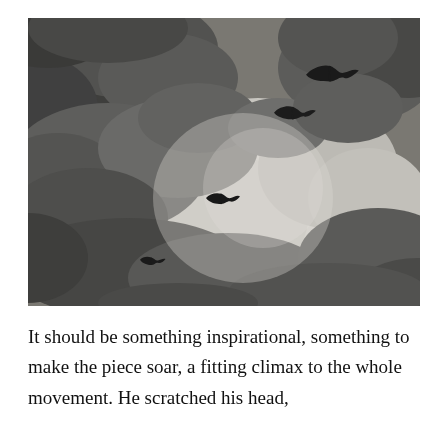[Figure (photo): Black and white photograph of a dramatic cloudy sky with four bird silhouettes flying in a diagonal formation from lower-left to upper-right.]
It should be something inspirational, something to make the piece soar, a fitting climax to the whole movement. He scratched his head,